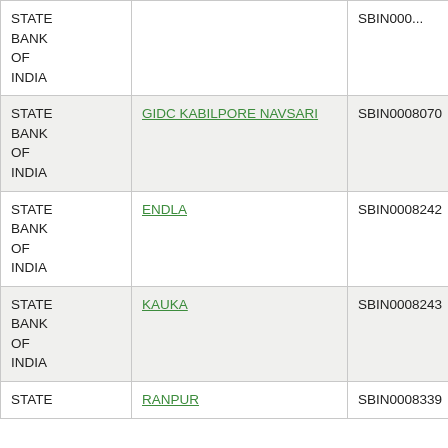| Bank | Branch | IFSC | PIN |
| --- | --- | --- | --- |
| STATE BANK OF INDIA |  | SBIN000... | 000... |
| STATE BANK OF INDIA | GIDC KABILPORE NAVSARI | SBIN0008070 | 396002... |
| STATE BANK OF INDIA | ENDLA | SBIN0008242 | 382002... |
| STATE BANK OF INDIA | KAUKA | SBIN0008243 | 382002... |
| STATE | RANPUR | SBIN0008339 | 363002... |